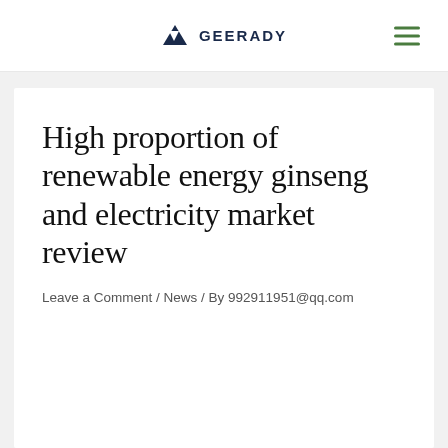GEERADY
High proportion of renewable energy ginseng and electricity market review
Leave a Comment / News / By 992911951@qq.com